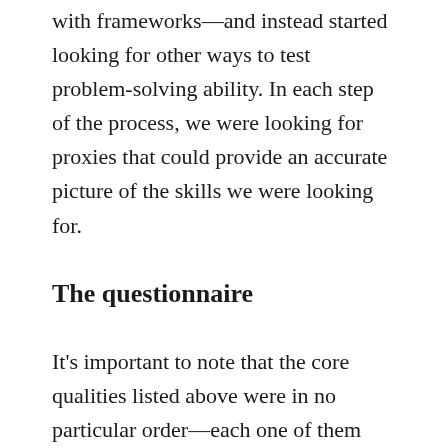with frameworks—and instead started looking for other ways to test problem-solving ability. In each step of the process, we were looking for proxies that could provide an accurate picture of the skills we were looking for.
The questionnaire
It's important to note that the core qualities listed above were in no particular order—each one of them matters just as much as the other. This insight lent us the liberty to sequence the rounds in whichever order we preferred.